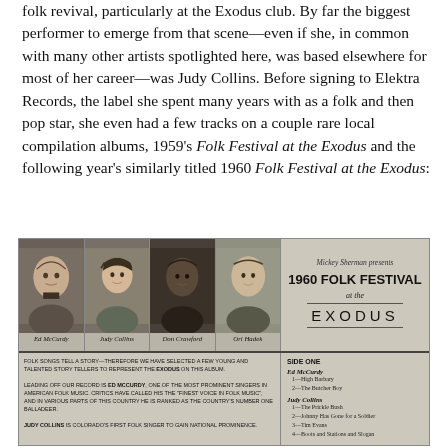folk revival, particularly at the Exodus club. By far the biggest performer to emerge from that scene—even if she, in common with many other artists spotlighted here, was based elsewhere for most of her career—was Judy Collins. Before signing to Elektra Records, the label she spent many years with as a folk and then pop star, she even had a few tracks on a couple rare local compilation albums, 1959's Folk Festival at the Exodus and the following year's similarly titled 1960 Folk Festival at the Exodus:
[Figure (photo): Album cover for '1960 Folk Festival at the Exodus' showing four black and white portrait photos of Ed McCurdy, Judy Collins, Don Crawford, and Ori Hadek, with album title text on the right side and track listing. Below photos there is album liner text.]